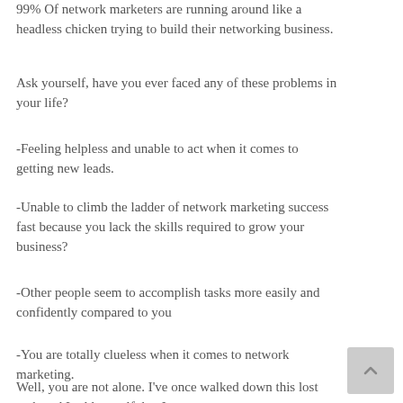99% Of network marketers are running around like a headless chicken trying to build their networking business.
Ask yourself, have you ever faced any of these problems in your life?
-Feeling helpless and unable to act when it comes to getting new leads.
-Unable to climb the ladder of network marketing success fast because you lack the skills required to grow your business?
-Other people seem to accomplish tasks more easily and confidently compared to you
-You are totally clueless when it comes to network marketing.
Well, you are not alone. I've once walked down this lost path and I told myself that I